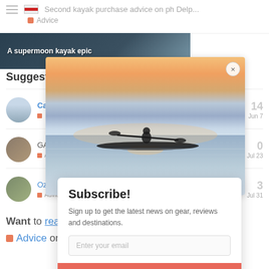Second kayak purchase advice on ph Delp...
Advice
[Figure (photo): Banner image with text 'A supermoon kayak epic']
Suggested Topics
Canoe folk: question on trailering canoes
advice  canoe  Jun 7  14
[Figure (photo): Kayak on water at sunset full-width overlay image with close button]
GAS vs minimalism
Advice  0  Jul 23
Ozark river trip with motorhome camping
Advice  3  Jul 31
Want to read more? Browse other topics in
Advice or view latest topics.
Subscribe!
Sign up to get the latest news on gear, reviews and destinations.
Enter your email
Sign up